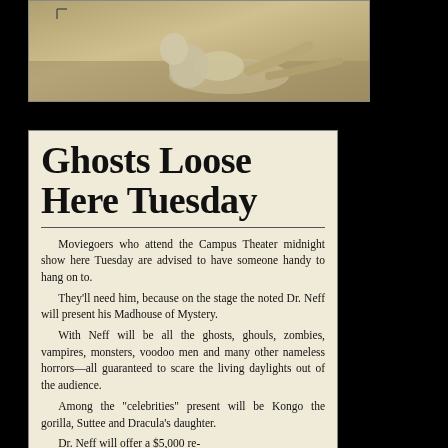[Figure (photo): Sepia-toned photograph clipping showing a person or performer, partially visible, in a posed position on a floor or stage.]
Ghosts Loose Here Tuesday
Moviegoers who attend the Campus Theater midnight show here Tuesday are advised to have someone handy to hang on to. They'll need him, because on the stage the noted Dr. Neff will present his Madhouse of Mystery. With Neff will be all the ghosts, ghouls, zombies, vampires, monsters, voodoo men and many other nameless horrors—all guaranteed to scare the living daylights out of the audience. Among the "celebrities" present will be Kongo the gorilla, Suttee and Dracula's daughter. Dr. Neff will offer a $5,000 re-